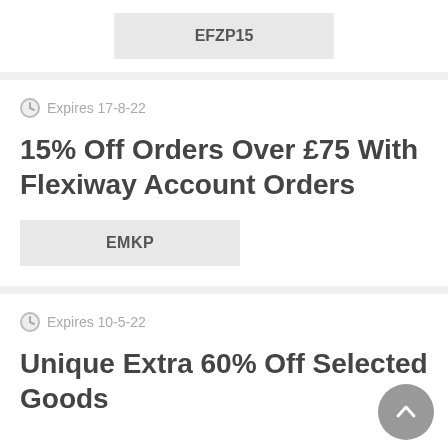EFZP15
Expires 17-8-22
15% Off Orders Over £75 With Flexiway Account Orders
EMKP
Expires 10-5-22
Unique Extra 60% Off Selected Goods